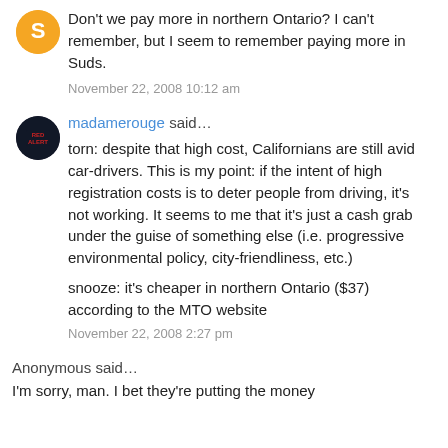Don't we pay more in northern Ontario? I can't remember, but I seem to remember paying more in Suds.
November 22, 2008 10:12 am
madamerouge said…
torn: despite that high cost, Californians are still avid car-drivers. This is my point: if the intent of high registration costs is to deter people from driving, it's not working. It seems to me that it's just a cash grab under the guise of something else (i.e. progressive environmental policy, city-friendliness, etc.)
snooze: it's cheaper in northern Ontario ($37) according to the MTO website
November 22, 2008 2:27 pm
Anonymous said…
I'm sorry, man. I bet they're putting the money